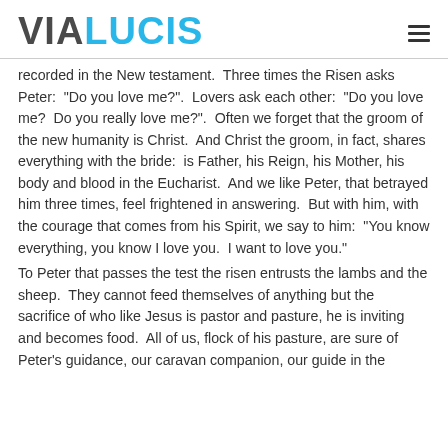VIALUCIS
recorded in the New testament.  Three times the Risen asks Peter:  "Do you love me?".  Lovers ask each other:  "Do you love me?  Do you really love me?".  Often we forget that the groom of the new humanity is Christ.  And Christ the groom, in fact, shares everything with the bride:  is Father, his Reign, his Mother, his body and blood in the Eucharist.  And we like Peter, that betrayed him three times, feel frightened in answering.  But with him, with the courage that comes from his Spirit, we say to him:  "You know everything, you know I love you.  I want to love you."
To Peter that passes the test the risen entrusts the lambs and the sheep.  They cannot feed themselves of anything but the sacrifice of who like Jesus is pastor and pasture, he is inviting and becomes food.  All of us, flock of his pasture, are sure of Peter's guidance, our caravan companion, our guide in the